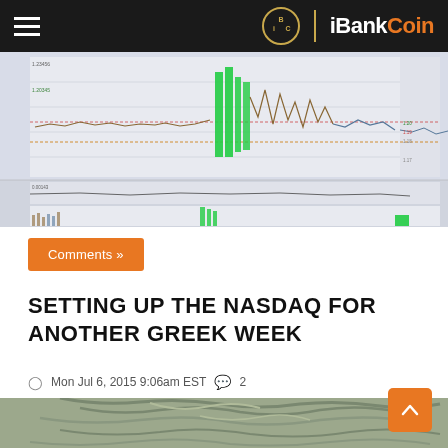iBankCoin
[Figure (screenshot): Stock trading chart showing NASDAQ intraday price movements with candlesticks, green volume spikes, and technical indicators in a charting software interface]
Comments »
SETTING UP THE NASDAQ FOR ANOTHER GREEK WEEK
Mon Jul 6, 2015 9:06am EST  💬 2
[Figure (photo): Partial view of a person's head with grey/silver wavy hair from behind or side angle]